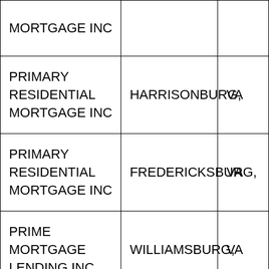| MORTGAGE INC |  |  |
| PRIMARY RESIDENTIAL MORTGAGE INC | HARRISONBURG, | VA |
| PRIMARY RESIDENTIAL MORTGAGE INC | FREDERICKSBURG, | VA |
| PRIME MORTGAGE LENDING INC | WILLIAMSBURG, | VA |
| PRIMELENDING A |  |  |